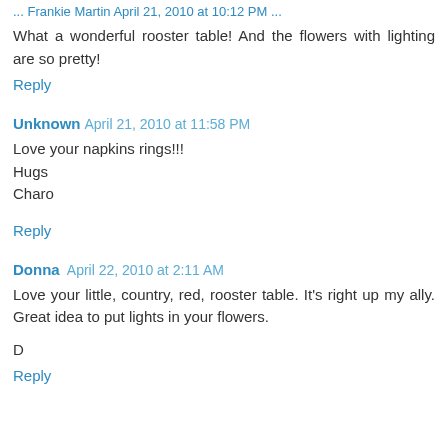... Frankie Martin April 21, 2010 at 10:12 PM ...
What a wonderful rooster table! And the flowers with lighting are so pretty!
Reply
Unknown April 21, 2010 at 11:58 PM
Love your napkins rings!!!
Hugs
Charo
Reply
Donna April 22, 2010 at 2:11 AM
Love your little, country, red, rooster table. It's right up my ally. Great idea to put lights in your flowers.

D
Reply